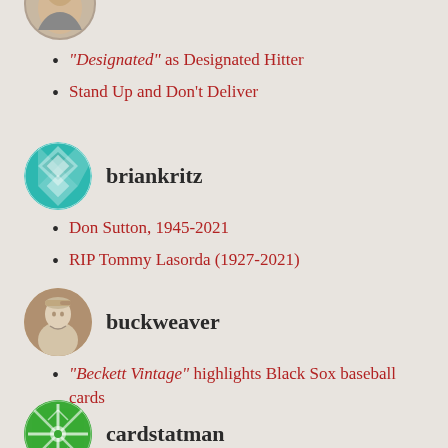[Figure (photo): Partial view of a person avatar at top of page (cropped)]
“Designated” as Designated Hitter
Stand Up and Don’t Deliver
[Figure (illustration): Circular avatar with teal geometric/diamond pattern for user briankritz]
briankritz
Don Sutton, 1945-2021
RIP Tommy Lasorda (1927-2021)
[Figure (photo): Circular avatar with vintage baseball player photo for user buckweaver]
buckweaver
“Beckett Vintage” highlights Black Sox baseball cards
[Figure (illustration): Partial circular avatar with green snowflake/geometric pattern for user cardstatman (cropped at bottom)]
cardstatman